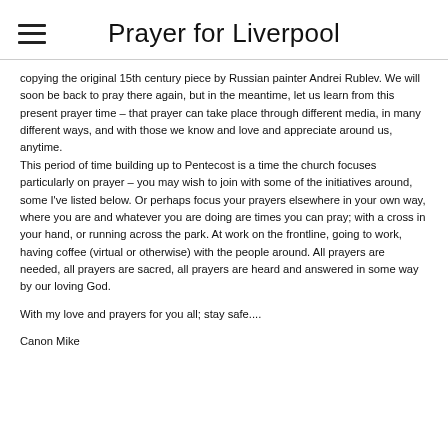Prayer for Liverpool
copying the original 15th century piece by Russian painter Andrei Rublev.  We will soon be back to pray there again, but in the meantime, let us learn from this present prayer time – that prayer can take place through different media, in many different ways, and with those we know and love and appreciate around us, anytime.
This period of time building up to Pentecost is a time the church focuses particularly on prayer – you may wish to join with some of the initiatives around, some I've listed below.  Or perhaps focus your prayers elsewhere in your own way, where you are and whatever you are doing are times you can pray; with a cross in your hand, or running across the park.  At work on the frontline, going to work, having coffee (virtual or otherwise) with the people around.  All prayers are needed, all prayers are sacred, all prayers are heard and answered in some way by our loving God.
With my love and prayers for you all; stay safe....
Canon Mike